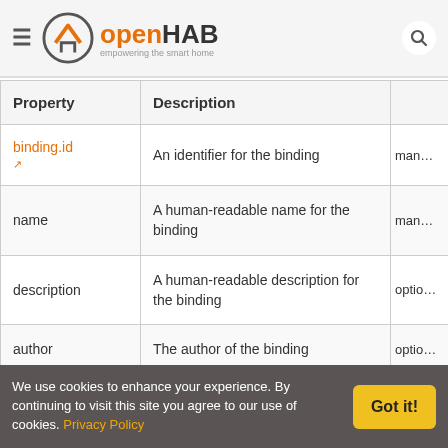openHAB — empowering the smart home
| Property | Description |  |
| --- | --- | --- |
| binding.id | An identifier for the binding | man… |
| name | A human-readable name for the binding | man… |
| description | A human-readable description for the binding | optio… |
| author | The author of the binding | optio… |
|  | The ID (service.pid or component.name) of the main binding service… |  |
We use cookies to enhance your experience. By continuing to visit this site you agree to our use of cookies. Privacy Policy